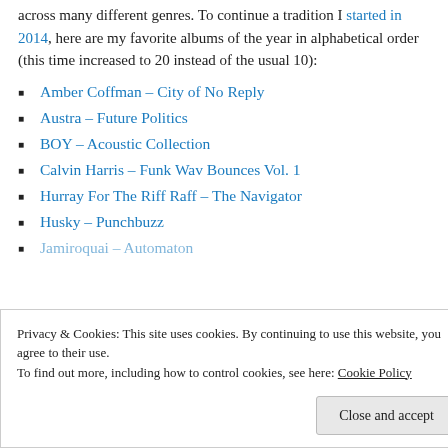across many different genres. To continue a tradition I started in 2014, here are my favorite albums of the year in alphabetical order (this time increased to 20 instead of the usual 10):
Amber Coffman – City of No Reply
Austra – Future Politics
BOY – Acoustic Collection
Calvin Harris – Funk Wav Bounces Vol. 1
Hurray For The Riff Raff – The Navigator
Husky – Punchbuzz
Jamiroquai – Automaton
Little Big Town – The Breaker